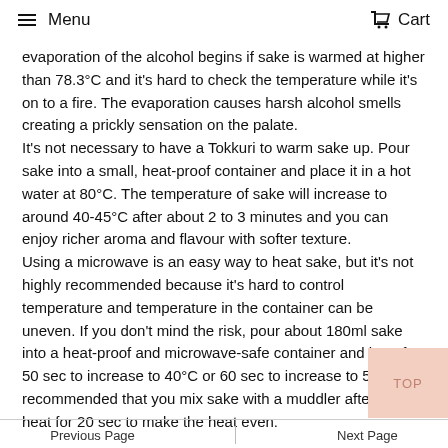Menu   Cart
evaporation of the alcohol begins if sake is warmed at higher than 78.3°C and it's hard to check the temperature while it's on to a fire. The evaporation causes harsh alcohol smells creating a prickly sensation on the palate.
It's not necessary to have a Tokkuri to warm sake up. Pour sake into a small, heat-proof container and place it in a hot water at 80°C. The temperature of sake will increase to around 40-45°C after about 2 to 3 minutes and you can enjoy richer aroma and flavour with softer texture.
Using a microwave is an easy way to heat sake, but it's not highly recommended because it's hard to control temperature and temperature in the container can be uneven. If you don't mind the risk, pour about 180ml sake into a heat-proof and microwave-safe container and heat for 50 sec to increase to 40°C or 60 sec to increase to 50°C. It's recommended that you mix sake with a muddler after it's heat for 20 sec to make the heat even.
Previous Page   Next Page